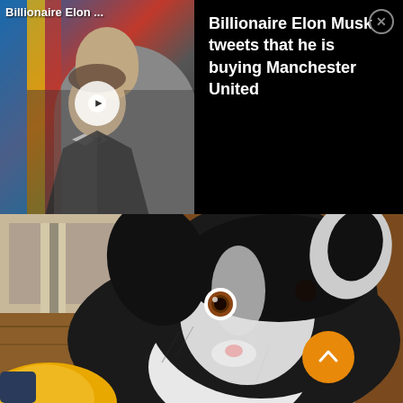[Figure (screenshot): Video thumbnail showing Billionaire Elon Musk with play button overlay, text label 'Billionaire Elon ...' at top left, set against colorful background]
Billionaire Elon Musk tweets that he is buying Manchester United
[Figure (photo): Close-up photo of a black and white dog (Border Collie or similar) with brown eyes, looking at camera, with a yellow/orange object in the foreground bottom-left, and an orange scroll-up button overlay]